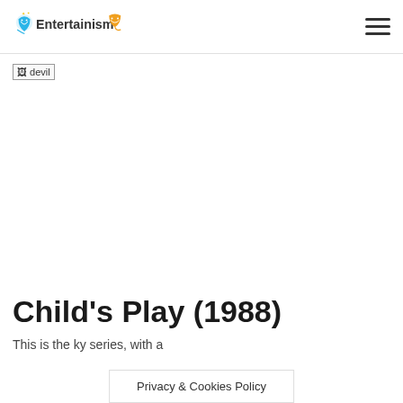Entertainism
[Figure (other): Broken image placeholder labelled 'devil']
Child's Play (1988)
This is the ... ky series, with a